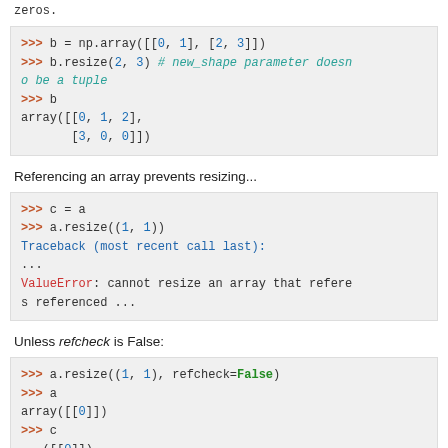zeros.
[Figure (screenshot): Code block showing: >>> b = np.array([[0, 1], [2, 3]]) >>> b.resize(2, 3) # new_shape parameter doesn't need to be a tuple >>> b array([[0, 1, 2], [3, 0, 0]])]
Referencing an array prevents resizing...
[Figure (screenshot): Code block showing: >>> c = a >>> a.resize((1, 1)) Traceback (most recent call last): ... ValueError: cannot resize an array that references or is referenced ...]
Unless refcheck is False:
[Figure (screenshot): Code block showing: >>> a.resize((1, 1), refcheck=False) >>> a array([[0]]) >>> c]